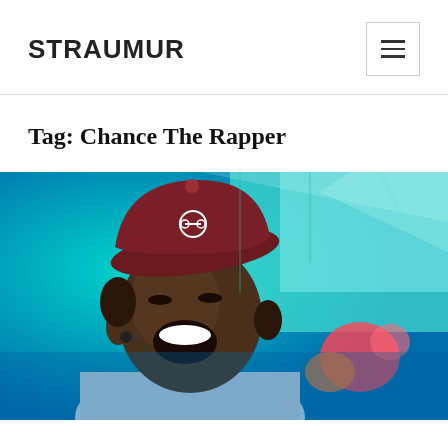STRAUMUR
Tag: Chance The Rapper
[Figure (photo): Chance The Rapper performing on stage, laughing and wearing a dark red baseball cap with a bicycle logo, colorful green and blue LED screens in the background]